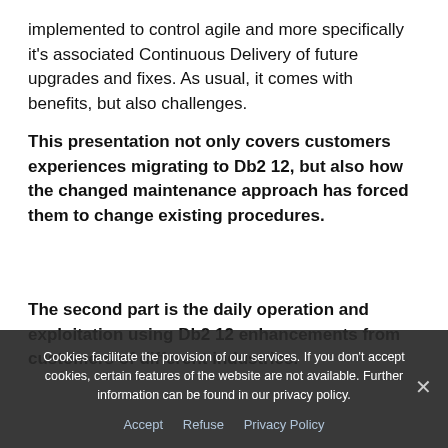implemented to control agile and more specifically it's associated Continuous Delivery of future upgrades and fixes. As usual, it comes with benefits, but also challenges.
This presentation not only covers customers experiences migrating to Db2 12, but also how the changed maintenance approach has forced them to change existing procedures.
The second part is the daily operation and exploitation using Db2 12 enhancements from customers of different industries.
Cookies facilitate the provision of our services. If you don't accept cookies, certain features of the website are not available. Further information can be found in our privacy policy.
Accept   Refuse   Privacy Policy